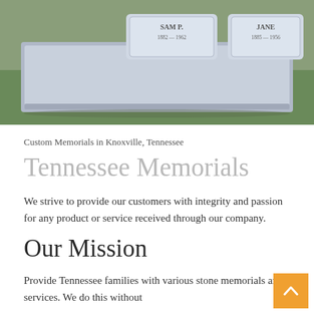[Figure (photo): Photograph of a double granite gravestone/memorial marker on grass. Two plaques visible: left reads 'SAM P.' with birth and death years including 1962, right reads 'JANE' with birth and death years including 1956. The stone is light gray/blue granite.]
Custom Memorials in Knoxville, Tennessee
Tennessee Memorials
We strive to provide our customers with integrity and passion for any product or service received through our company.
Our Mission
Provide Tennessee families with various stone memorials and services. We do this without